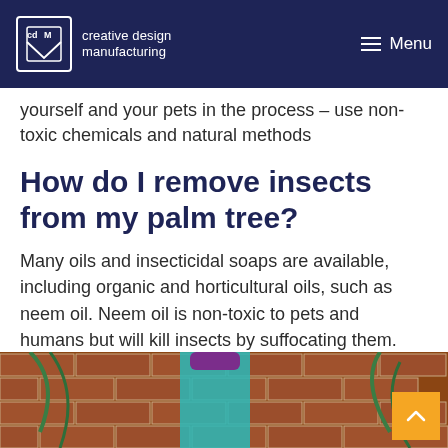creative design manufacturing | Menu
yourself and your pets in the process – use non-toxic chemicals and natural methods
How do I remove insects from my palm tree?
Many oils and insecticidal soaps are available, including organic and horticultural oils, such as neem oil. Neem oil is non-toxic to pets and humans but will kill insects by suffocating them.
[Figure (photo): Photo of a teal spray bottle with purple cap placed against a red brick wall with green palm leaves visible]